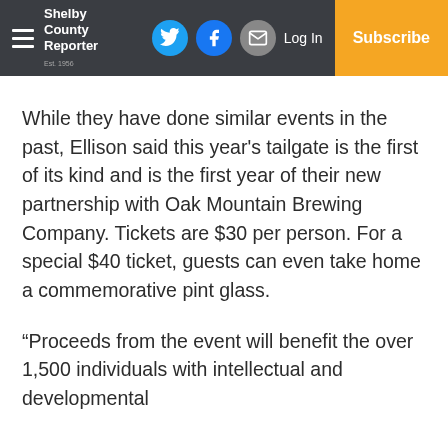Shelby County Reporter — navigation bar with social icons, Log In, and Subscribe
While they have done similar events in the past, Ellison said this year's tailgate is the first of its kind and is the first year of their new partnership with Oak Mountain Brewing Company. Tickets are $30 per person. For a special $40 ticket, guests can even take home a commemorative pint glass.
“Proceeds from the event will benefit the over 1,500 individuals with intellectual and developmental